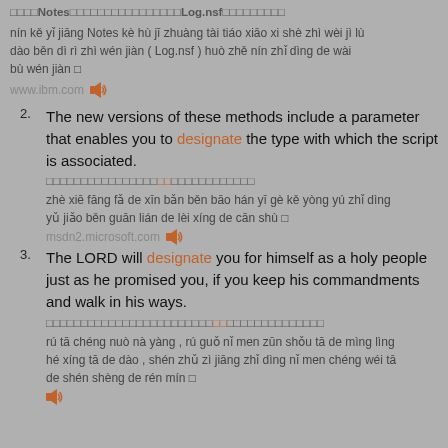□□□□Notes□□□□□□□□□□□□□□□□Log.nsf□□□□□□□□□□
nín kě yǐ jiāng Notes kè hù jī zhuàng tài tiáo xiāo xi shè zhì wèi jì lù dào běn dì rì zhì wén jiàn ( Log.nsf ) huò zhě nín zhǐ dìng de wài bù wén jiàn □
www.ibm.com 🔊
2. The new versions of these methods include a parameter that enables you to designate the type with which the script is associated.
□□□□□□□□□□□□□□□□□□□□□□□□□□□□□□
zhè xiē fāng fǎ de xīn bǎn běn bāo hán yī gè kě yòng yú zhǐ dìng yǔ jiǎo běn guān lián de lèi xíng de cān shù □
msdn2.microsoft.com 🔊
3. The LORD will designate you for himself as a holy people just as he promised you, if you keep his commandments and walk in his ways.
□□□□□□□□□□□□□□□□□□□□□□□□□□□□□□□□□□□□□□□□□□
rú tā chéng nuò nà yàng , rú guǒ nǐ men zūn shǒu tā de mìng lìng hé xíng tā de dào , shén zhǔ zì jiāng zhǐ dìng nǐ men chéng wéi tā de shén shèng de rén mín □